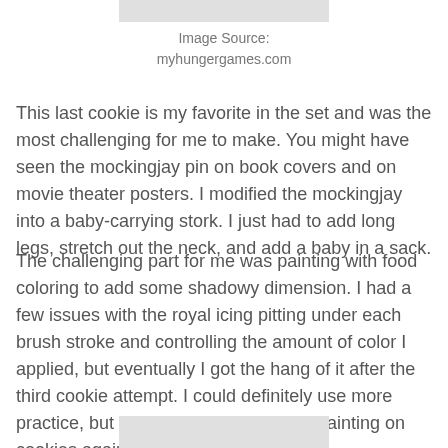Image Source:
myhungergames.com
This last cookie is my favorite in the set and was the most challenging for me to make. You might have seen the mockingjay pin on book covers and on movie theater posters. I modified the mockingjay into a baby-carrying stork. I just had to add long legs, stretch out the neck, and add a baby in a sack.
The challenging part for me was painting with food coloring to add some shadowy dimension. I had a few issues with the royal icing pitting under each brush stroke and controlling the amount of color I applied, but eventually I got the hang of it after the third cookie attempt. I could definitely use more practice, but I'm not sure I'd be up for painting on cookies again any time soon. :)